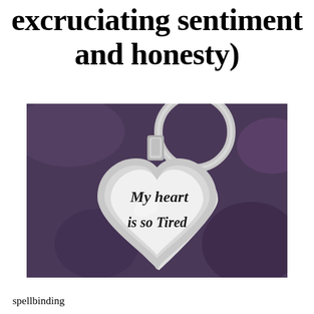excruciating sentiment and honesty)
[Figure (photo): A silver heart-shaped keychain pendant with a key ring, resting on a purple fabric background. The heart pendant has script text reading 'My heart is so Tired']
spellbinding